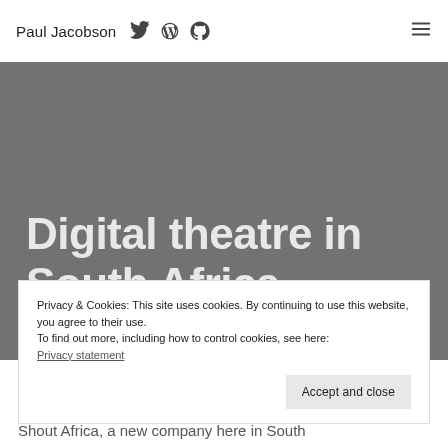Paul Jacobson
Digital theatre in South Africa
Privacy & Cookies: This site uses cookies. By continuing to use this website, you agree to their use.
To find out more, including how to control cookies, see here:
Privacy statement
Accept and close
Shout Africa, a new company here in South